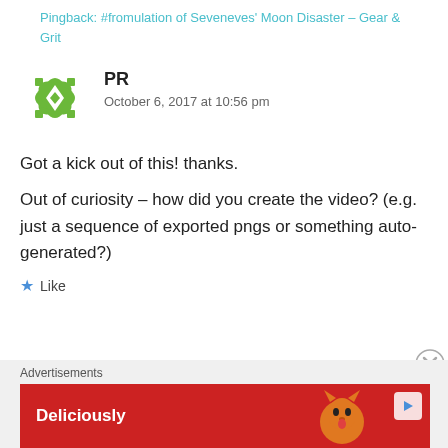Pingback: #fromulation of Seveneves' Moon Disaster – Gear & Grit
[Figure (illustration): Green geometric snowflake/star avatar icon for user PR]
PR
October 6, 2017 at 10:56 pm
Got a kick out of this! thanks.
Out of curiosity – how did you create the video? (e.g. just a sequence of exported pngs or something auto-generated?)
★ Like
Advertisements
[Figure (photo): Red advertisement banner reading 'Deliciously' with an orange cat licking its paw]